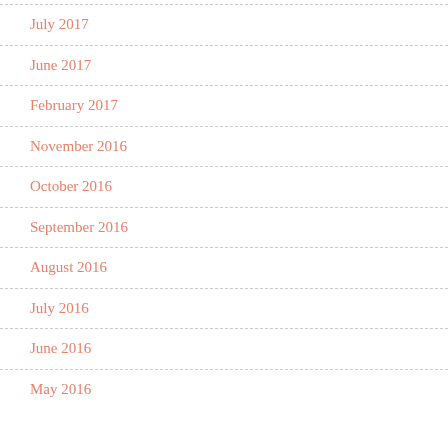July 2017
June 2017
February 2017
November 2016
October 2016
September 2016
August 2016
July 2016
June 2016
May 2016